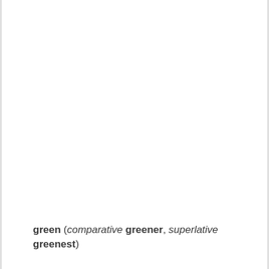green (comparative greener, superlative greenest)